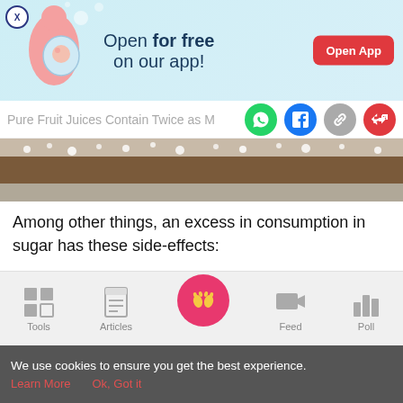[Figure (screenshot): App promotional banner with pregnancy illustration. Text: 'Open for free on our app!' with an 'Open App' button.]
Pure Fruit Juices Contain Twice as M
[Figure (photo): Close-up photo of sugar crystals on a wooden surface]
Among other things, an excess in consumption in sugar has these side-effects:
Reduces the body's ability to defend against bacterial
[Figure (screenshot): Bottom navigation bar with Tools, Articles, home (feet icon), Feed, and Poll tabs]
We use cookies to ensure you get the best experience.
Learn More   Ok, Got it